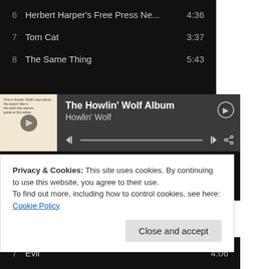6   Herbert Harper's Free Press Ne...   4:36
7   Tom Cat   3:37
8   The Same Thing   5:43
[Figure (screenshot): Spotify embedded player showing 'The Howlin' Wolf Album' by Howlin' Wolf with album art, play controls, and progress bar]
1   Spoonful   3:51
2   Tail Dragger   4:33
Privacy & Cookies: This site uses cookies. By continuing to use this website, you agree to their use.
To find out more, including how to control cookies, see here: Cookie Policy
7   Evil   4:06